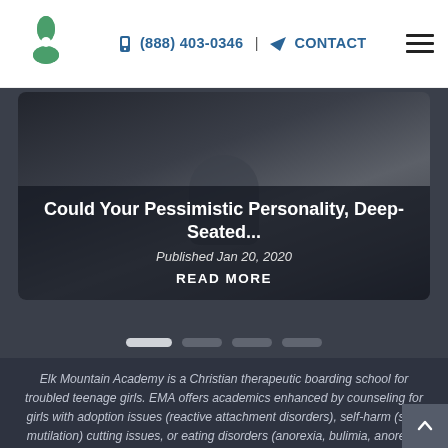(888) 403-0346 | CONTACT
[Figure (screenshot): Dark photo of a person sitting on a couch, used as card background for a blog post]
Could Your Pessimistic Personality, Deep-Seated...
Published Jan 20, 2020
READ MORE
Elk Mountain Academy is a Christian therapeutic boarding school for troubled teenage girls. EMA offers academics enhanced by counseling for girls with adoption issues (reactive attachment disorders), self-harm (self-mutilation) cutting issues, or eating disorders (anorexia, bulimia, anorexia nervosa). Elk Mountain Academy is known for being a top-rated Christian-based residential treatment center for troubled girls, offering therapeutic, autonomous...